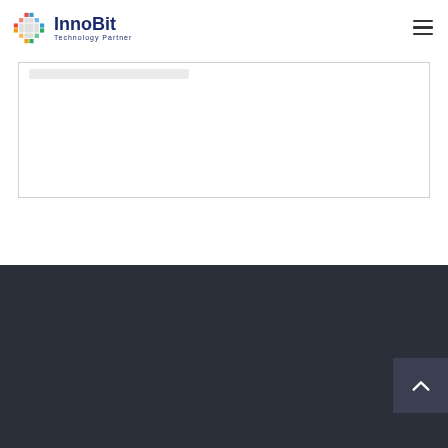[Figure (logo): InnoBit Technology Partner logo with colorful pixel/cross icon and dark blue text]
[Figure (other): Hamburger menu icon (three horizontal lines) in top right corner]
[Figure (other): White content box with light border, partially visible breadcrumb/navigation text]
[Figure (other): Dark navy footer area with scroll-to-top button (upward chevron) in bottom right]